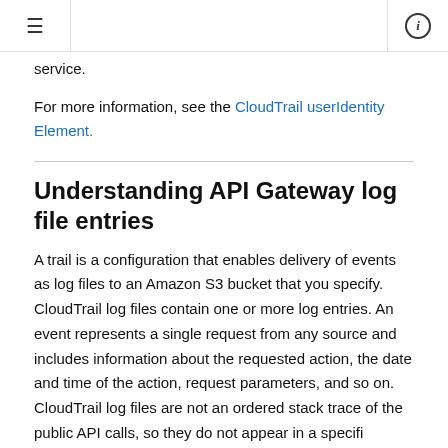≡  [navigation header]  ⓘ
service.
For more information, see the CloudTrail userIdentity Element.
Understanding API Gateway log file entries
A trail is a configuration that enables delivery of events as log files to an Amazon S3 bucket that you specify. CloudTrail log files contain one or more log entries. An event represents a single request from any source and includes information about the requested action, the date and time of the action, request parameters, and so on. CloudTrail log files are not an ordered stack trace of the public API calls, so they do not appear in a specific